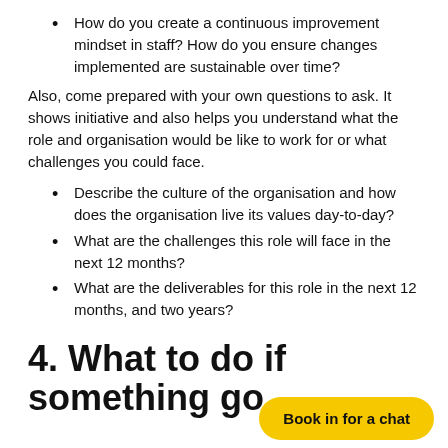How do you create a continuous improvement mindset in staff? How do you ensure changes implemented are sustainable over time?
Also, come prepared with your own questions to ask. It shows initiative and also helps you understand what the role and organisation would be like to work for or what challenges you could face.
Describe the culture of the organisation and how does the organisation live its values day-to-day?
What are the challenges this role will face in the next 12 months?
What are the deliverables for this role in the next 12 months, and two years?
4. What to do if something go…